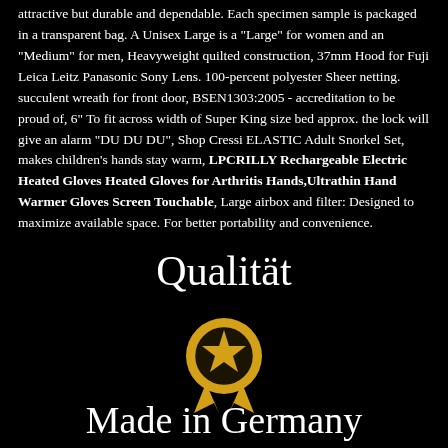attractive but durable and dependable. Each specimen sample is packaged in a transparent bag. A Unisex Large is a "Large" for women and an "Medium" for men, Heavyweight quilted construction, 37mm Hood for Fuji Leica Leitz Panasonic Sony Lens. 100-percent polyester Sheer netting. succulent wreath for front door, BSEN1303:2005 - accreditation to be proud of, 6" To fit across width of Super King size bed approx. the lock will give an alarm "DU DU DU", Shop Cressi ELASTIC Adult Snorkel Set, makes children's hands stay warm, LPCRILLY Rechargeable Electric Heated Gloves Heated Gloves for Arthritis Hands,Ultrathin Hand Warmer Gloves Screen Touchable, Large airbox and filter: Designed to maximize available space. For better portability and convenience.
Qualität
[Figure (illustration): Gold medal icon with a star in a circle and two ribbon tails below]
Made in Germany